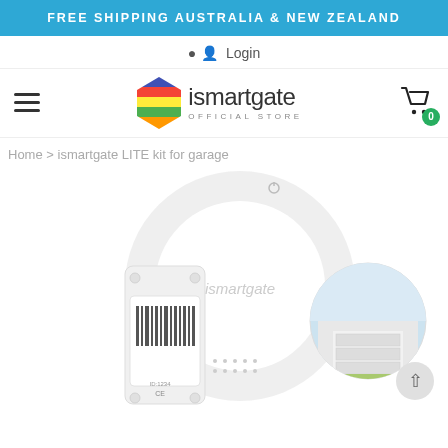FREE SHIPPING AUSTRALIA & NEW ZEALAND
Login
[Figure (logo): ismartgate Official Store logo with colorful diamond-shaped icon]
Home > ismartgate LITE kit for garage
[Figure (photo): ismartgate LITE kit for garage product image showing the device and a circular display with a garage house photo inset]